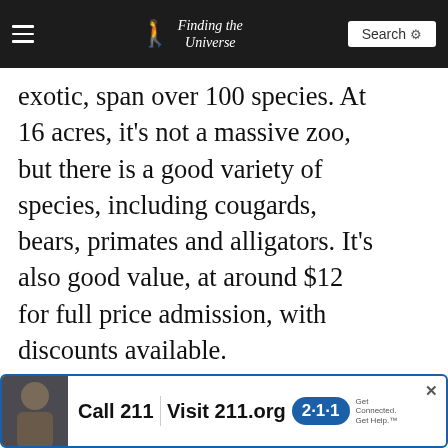Finding the Universe | Search
exotic, span over 100 species. At 16 acres, it's not a massive zoo, but there is a good variety of species, including cougards, bears, primates and alligators. It's also good value, at around $12 for full price admission, with discounts available.
[Figure (infographic): Ukraine support advertisement with heart graphic showing Ukrainian flag colors (blue and yellow) and hands, with text YOU CAN HELP]
[Figure (infographic): Bottom banner advertisement: Call 211 | Visit 211.org with 2-1-1 logo]